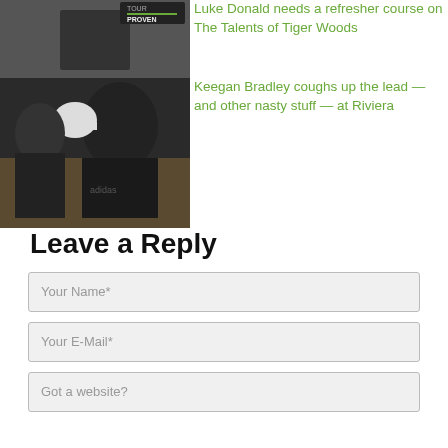[Figure (photo): Black and white photo of a golfer with text 'PROVEN' overlay]
Luke Donald needs a refresher course on The Talents of Tiger Woods
[Figure (photo): Photo of a smiling golfer wearing an Adidas polo and white cap]
Keegan Bradley coughs up the lead — and other nasty stuff — at Riviera
Leave a Reply
Your Name*
Your E-Mail*
Got a website?